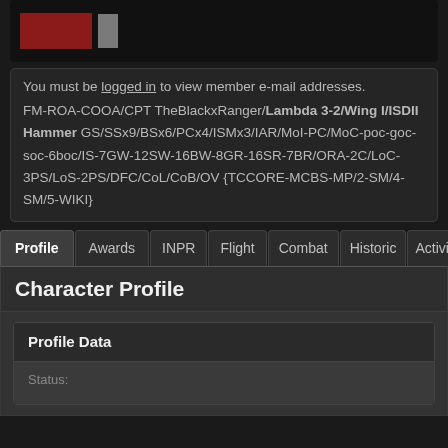[Figure (screenshot): Dark UI card with red pixel art icons and a small person icon]
You must be logged in to view member e-mail addresses.
FM-ROA-COOA/CPT TheBlackxRanger/Lambda 3-2/Wing I/ISDII Hammer GS/SSx9/BSx6/PCx4/ISMx3/IAR/MoI-PC/MoC-poc-goc-soc-6boc/IS-7GW-12SW-16BW-8GR-16SR-7BR/ORA-2C/LoC-3PS/LoS-2PS/DFC/CoL/CoB/OV {TCCORE-MCBS-MP/2-SM/4-SM/5-WIKI}
Profile
Awards
INPR
Flight
Combat
Historic
Activit
Character Profile
Profile Data
Status: